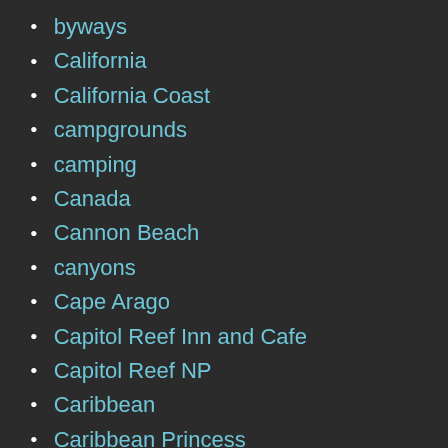byways
California
California Coast
campgrounds
camping
Canada
Cannon Beach
canyons
Cape Arago
Capitol Reef Inn and Cafe
Capitol Reef NP
Caribbean
Caribbean Princess
Cartagena
Cascade Lakes Scenic Byway
Cassiar Highway